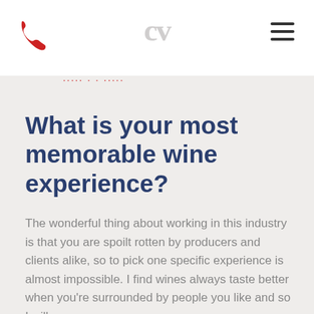CV [logo] | phone icon | hamburger menu
WHAT IS CONNECTED
What is your most memorable wine experience?
The wonderful thing about working in this industry is that you are spoilt rotten by producers and clients alike, so to pick one specific experience is almost impossible. I find wines always taste better when you're surrounded by people you like and so I will